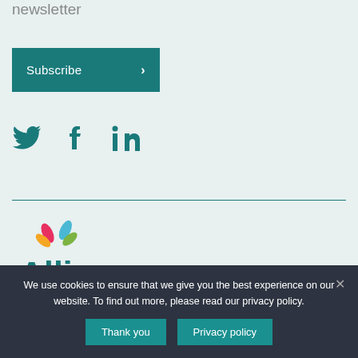Read more about our impact – sign up for our newsletter
[Figure (other): Subscribe button with teal background and right-arrow chevron]
[Figure (other): Social media icons: Twitter bird, Facebook f, LinkedIn in — all in teal]
[Figure (logo): Allia logo with colourful leaf/petal icons above the word Allia in teal]
We use cookies to ensure that we give you the best experience on our website. To find out more, please read our privacy policy.
Thank you   Privacy policy